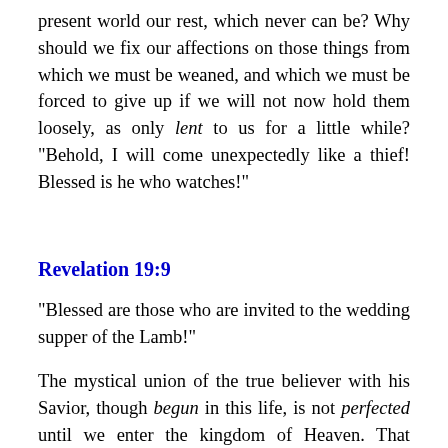present world our rest, which never can be? Why should we fix our affections on those things from which we must be weaned, and which we must be forced to give up if we will not now hold them loosely, as only lent to us for a little while? "Behold, I will come unexpectedly like a thief! Blessed is he who watches!"
Revelation 19:9
"Blessed are those who are invited to the wedding supper of the Lamb!"
The mystical union of the true believer with his Savior, though begun in this life, is not perfected until we enter the kingdom of Heaven. That blessed consummation of his bliss is compared to the bond of marriage; and the believer looks forward to that consummation with joyful hope. His heart responds to the word, "Blessed are those who are invited...